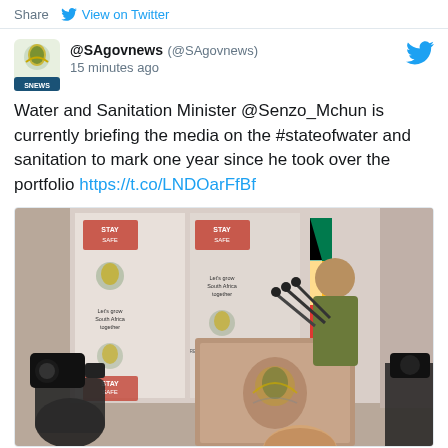Share   View on Twitter
@SAgovnews (@SAgovnews)
15 minutes ago
Water and Sanitation Minister @Senzo_Mchun is currently briefing the media on the #stateofwater and sanitation to mark one year since he took over the portfolio https://t.co/LNDOarFfBf
[Figure (photo): A man in a camouflage jacket stands at a podium with the South African government coat of arms. Behind him is a backdrop with 'STAY SAFE' and 'Let's grow South Africa together' messaging repeated, along with South African flag. Camera operators visible in the foreground.]